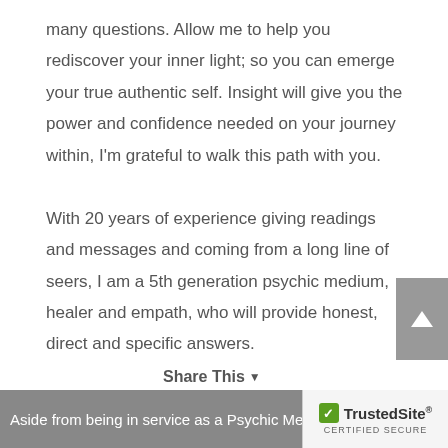many questions. Allow me to help you rediscover your inner light; so you can emerge your true authentic self. Insight will give you the power and confidence needed on your journey within, I'm grateful to walk this path with you.

With 20 years of experience giving readings and messages and coming from a long line of seers, I am a 5th generation psychic medium, healer and empath, who will provide honest, direct and specific answers.

Be fearless in the pursuit of what sets your soul on fire. "What you seek is seeking you" - Rumi
Aside from being in service as a Psychic Medium